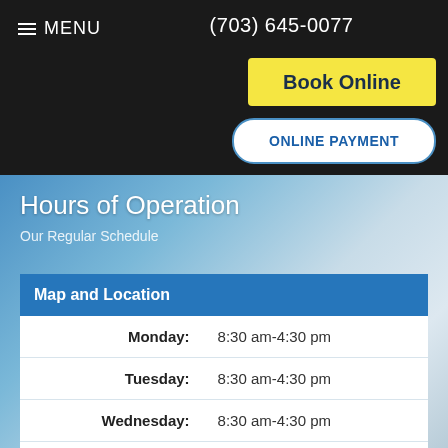MENU  (703) 645-0077
Book Online
ONLINE PAYMENT
Hours of Operation
Our Regular Schedule
| Map and Location |  |
| --- | --- |
| Monday: | 8:30 am-4:30 pm |
| Tuesday: | 8:30 am-4:30 pm |
| Wednesday: | 8:30 am-4:30 pm |
| Thursday: | 8:30 am-4:30 pm |
Accessibility View